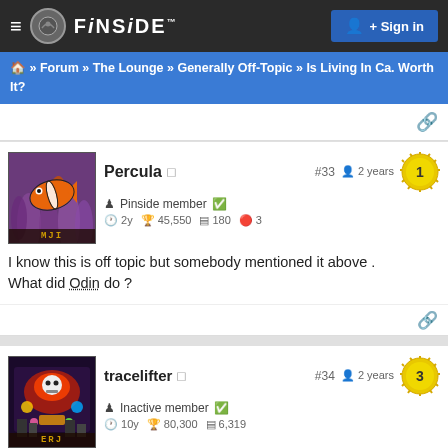FINSIDE  Sign in
Forum » The Lounge » Generally Off-Topic » Is Living In Ca. Worth It?
Percula  #33  2 years  Pinside member  2y  45,550  180  3
I know this is off topic but somebody mentioned it above . What did Odin do ?
tracelifter  #34  2 years  Inactive member  10y  80,300  6,319